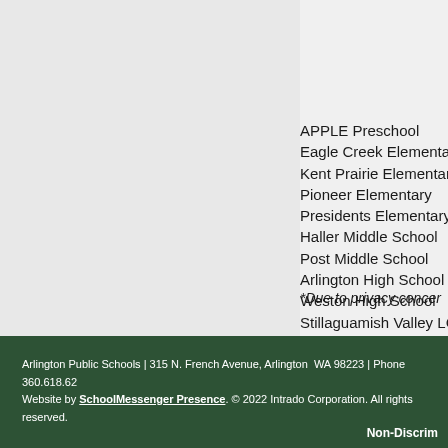APPLE Preschool
Eagle Creek Elementary
Kent Prairie Elementary
Pioneer Elementary
Presidents Elementary
Haller Middle School
Post Middle School
Arlington High School
Weston High School
Stillaguamish Valley LC
*Due to privacy concer
Arlington Public Schools | 315 N. French Avenue, Arlington  WA 98223 | Phone 360.618.62
Website by SchoolMessenger Presence. © 2022 Intrado Corporation. All rights reserved.
Non-Discrim